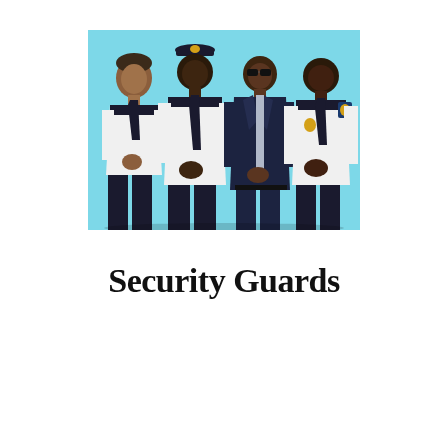[Figure (photo): Four security guards standing side by side against a light blue background. From left to right: a man in white short-sleeve uniform shirt with dark tie and dark pants; a taller man in white uniform shirt with dark tie, dark pants, and a peaked cap with badge; a man in a dark navy suit with sunglasses and tie; and a man in white short-sleeve uniform shirt with shoulder patch and dark pants.]
Security Guards